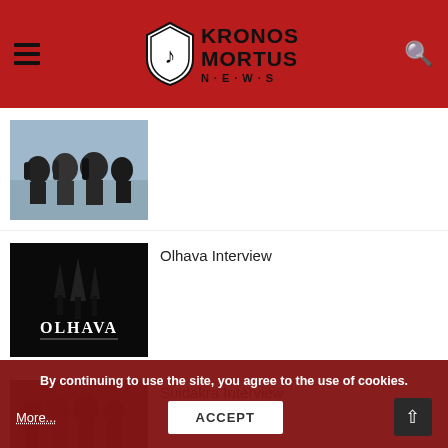KRONOS MORTUS NEWS
[Figure (photo): Band photo - group of four men with long hair outdoors]
[Figure (photo): Olhava band logo - white ornate gothic text on black background]
Olhava Interview
[Figure (photo): Suidakra band photo - four men in dark clothing]
Suidakra Interview
By continuing to use the site, you agree to the use of cookies.
More... ACCEPT